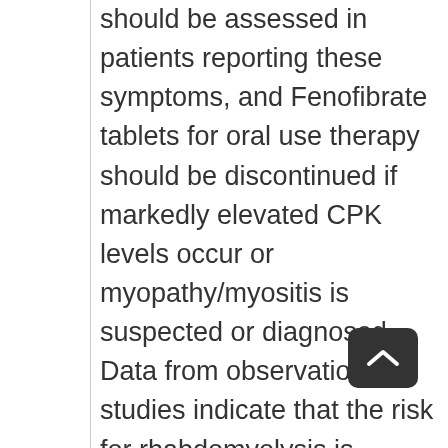should be assessed in patients reporting these symptoms, and Fenofibrate tablets for oral use therapy should be discontinued if markedly elevated CPK levels occur or myopathy/myositis is suspected or diagnosed. Data from observational studies indicate that the risk for rhabdomyolysis is increased when fibrates, in particular gemfibrozil, are co-administered with an HMG-CoA reductase inhibitor (statin). The combination should be avoided unless the benefit of further alterations in lipid levels is likely to outweigh the increased risk of this drug combination [see Clinical Pharmacology (12.3)]. Cases of myopathy, including rhabdomyolysis, have been reported with fenofibrates co-administered with colchicine, and caution should be exercised when prescribing fenofibrate with